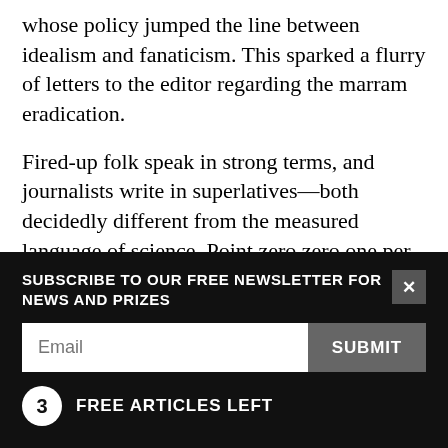whose policy jumped the line between idealism and fanaticism. This sparked a flurry of letters to the editor regarding the marram eradication.
Fired-up folk speak in strong terms, and journalists write in superlatives—both decidedly different from the measured language of science. Point zero zero one per cent equals might. “It might happen,” the scientist ventures, which freaks out the angry local, who has the conviction of a zealot. “Might?” cries Joe Public. “So you’re definitely killing some kiwis out
SUBSCRIBE TO OUR FREE NEWSLETTER FOR NEWS AND PRIZES
Email
SUBMIT
3 FREE ARTICLES LEFT